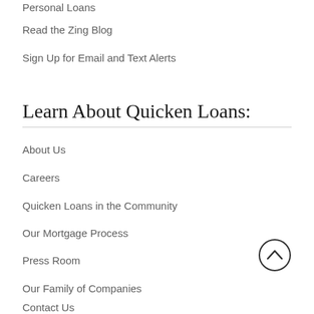Personal Loans
Read the Zing Blog
Sign Up for Email and Text Alerts
Learn About Quicken Loans:
About Us
Careers
Quicken Loans in the Community
Our Mortgage Process
Press Room
Our Family of Companies
Contact Us